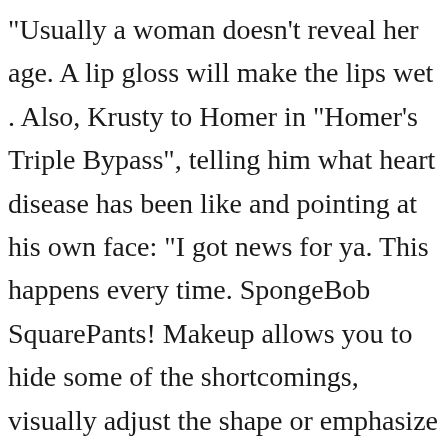"Usually a woman doesn't reveal her age. A lip gloss will make the lips wet . Also, Krusty to Homer in "Homer's Triple Bypass", telling him what heart disease has been like and pointing at his own face: "I got news for ya. This happens every time. SpongeBob SquarePants! Makeup allows you to hide some of the shortcomings, visually adjust the shape or emphasize the winning facial features. The emphasis on eyelashes makes the look expressive. So, for example, krusty without makeup can be seen in the photo above. Kamp Krusty isn't actually run by the real Krusty the